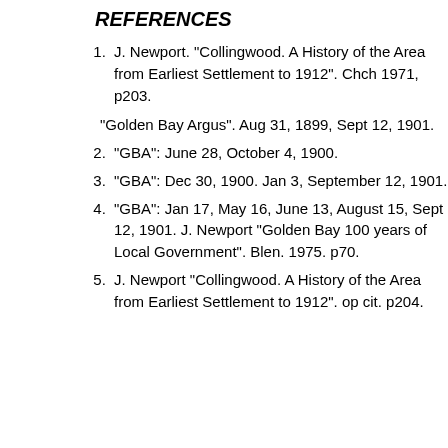REFERENCES
J. Newport. "Collingwood. A History of the Area from Earliest Settlement to 1912". Chch 1971, p203.

"Golden Bay Argus". Aug 31, 1899, Sept 12, 1901.
"GBA": June 28, October 4, 1900.
"GBA": Dec 30, 1900. Jan 3, September 12, 1901.
"GBA": Jan 17, May 16, June 13, August 15, Sept 12, 1901. J. Newport "Golden Bay 100 years of Local Government". Blen. 1975. p70.
J. Newport "Collingwood. A History of the Area from Earliest Settlement to 1912". op cit. p204.